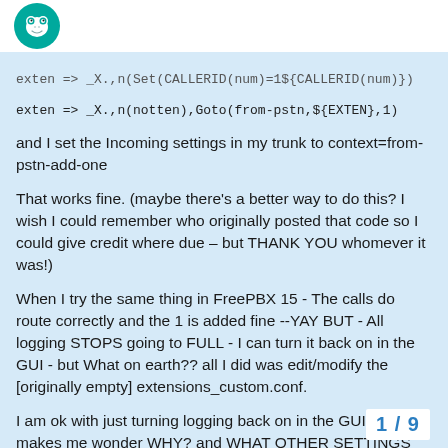[Figure (logo): FreePBX/community forum logo — green circle with white frog icon]
exten => _X.,n(notten),Goto(from-pstn,${EXTEN},1)
and I set the Incoming settings in my trunk to context=from-pstn-add-one
That works fine. (maybe there's a better way to do this? I wish I could remember who originally posted that code so I could give credit where due – but THANK YOU whomever it was!)
When I try the same thing in FreePBX 15 - The calls do route correctly and the 1 is added fine --YAY BUT - All logging STOPS going to FULL - I can turn it back on in the GUI - but What on earth?? all I did was edit/modify the [originally empty] extensions_custom.conf.
I am ok with just turning logging back on in the GUI, but it makes me wonder WHY? and WHAT OTHER SETTINGS also may have been screwed up at the same time??
PS. I'm running this system as a virtual gu
1 / 9